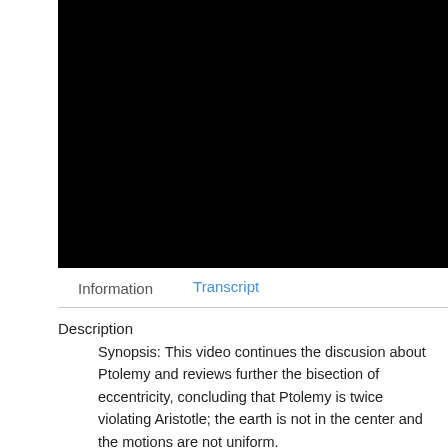[Figure (other): Black video player area, no visible content]
Information	Transcript
Description
Synopsis: This video continues the discusion about Ptolemy and reviews further the bisection of eccentricity, concluding that Ptolemy is twice violating Aristotle; the earth is not in the center and the motions are not uniform.